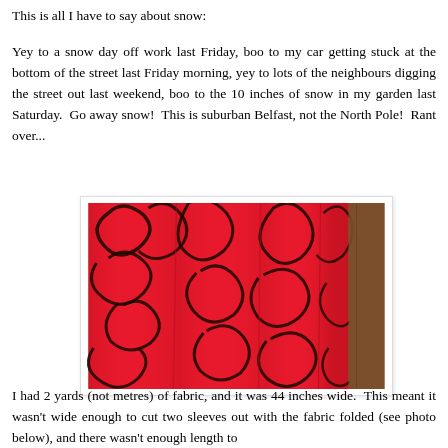This is all I have to say about snow:
Yey to a snow day off work last Friday, boo to my car getting stuck at the bottom of the street last Friday morning, yey to lots of the neighbours digging the street out last weekend, boo to the 10 inches of snow in my garden last Saturday.  Go away snow!  This is suburban Belfast, not the North Pole!  Rant over...
[Figure (photo): Photo of red fabric with black swirling floral/cloud pattern, folded in vertical pleats, placed on a wooden surface.]
I had 2 yards (not metres) of fabric, and it was 44 inches wide.  This meant it wasn't wide enough to cut two sleeves out with the fabric folded (see photo below), and there wasn't enough length to